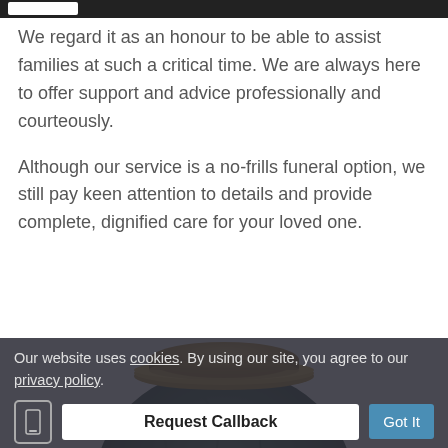We regard it as an honour to be able to assist families at such a critical time. We are always here to offer support and advice professionally and courteously.
Although our service is a no-frills funeral option, we still pay keen attention to details and provide complete, dignified care for your loved one.
[Figure (photo): A dark green marble cremation urn with a gold-rimmed lid, partially visible at the bottom of the page.]
Our website uses cookies. By using our site, you agree to our privacy policy.